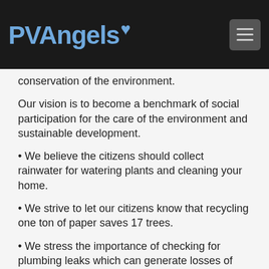PVAngels
conservation of the environment.
Our vision is to become a benchmark of social participation for the care of the environment and sustainable development.
• We believe the citizens should collect rainwater for watering plants and cleaning your home.
• We strive to let our citizens know that recycling one ton of paper saves 17 trees.
• We stress the importance of checking for plumbing leaks which can generate losses of 800 litres of water a day.
• We believe in trash separation, at least for organic